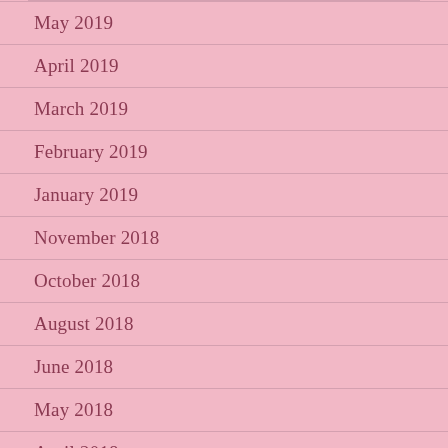May 2019
April 2019
March 2019
February 2019
January 2019
November 2018
October 2018
August 2018
June 2018
May 2018
April 2018
March…